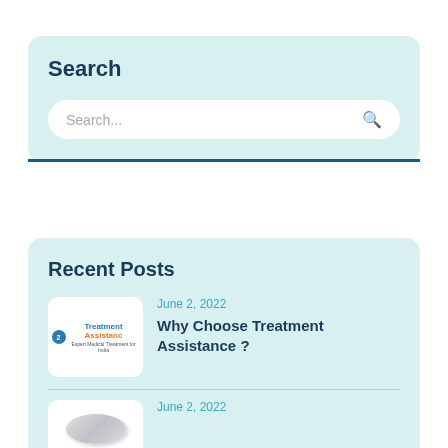Search
Search...
Recent Posts
June 2, 2022
Why Choose Treatment Assistance ?
June 2, 2022